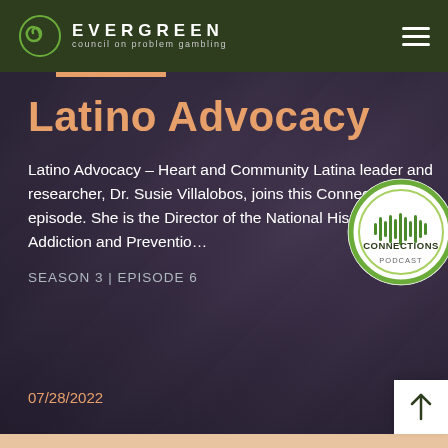EVERGREEN council on problem gambling
Latino Advocacy
Latino Advocacy – Heart and Community Latina leader and researcher, Dr. Susie Villalobos, joins this Connections episode. She is the Director of the National Hispanic Latino Addiction and Preventio…
SEASON 3 | EPISODE 6
07/28/2022
[Figure (logo): Connections Podcast circular badge logo with green ring and audio waveform graphic, labeled CONNECTIONS PODCAST]